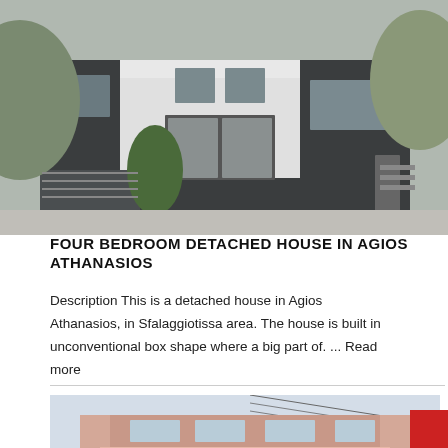[Figure (photo): Exterior photo of a modern two-storey detached house with dark grey/charcoal facade and white window surrounds, set on a hillside with trees and landscaping in front.]
FOUR BEDROOM DETACHED HOUSE IN AGIOS ATHANASIOS
Description This is a detached house in Agios Athanasios, in Sfalaggiotissa area. The house is built in unconventional box shape where a big part of. ... Read more
[Figure (photo): Exterior photo of a multi-storey pink/terracotta rendered apartment or house building under a pale blue sky with power lines visible.]